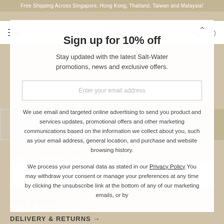Free Shipping Across Singapore, Hong Kong, Thailand, Taiwan and Malaysia!
[Figure (logo): Salt-Water Sandal original brand logo with 'THE ORIGINAL' text above and 'SANDAL' text below the stylized script brand name]
Sign up for 10% off
Stay updated with the latest Salt-Water promotions, news and exclusive offers.
Enter your email address
We use email and targeted online advertising to send you product and services updates, promotional offers and other marketing communications based on the information we collect about you, such as your email address, general location, and purchase and website browsing history.
We process your personal data as stated in our Privacy Policy You may withdraw your consent or manage your preferences at any time by clicking the unsubscribe link at the bottom of any of our marketing emails, or by
Notify me when back in stock
INFO & CARE +
DELIVERY & RETURNS →